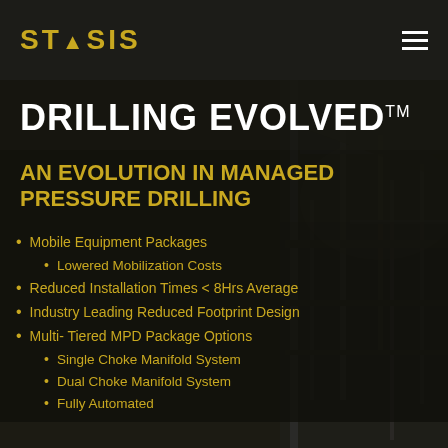STASIS
DRILLING EVOLVED™
AN EVOLUTION IN MANAGED PRESSURE DRILLING
Mobile Equipment Packages
Lowered Mobilization Costs
Reduced Installation Times < 8Hrs Average
Industry Leading Reduced Footprint Design
Multi- Tiered MPD Package Options
Single Choke Manifold System
Dual Choke Manifold System
Fully Automated